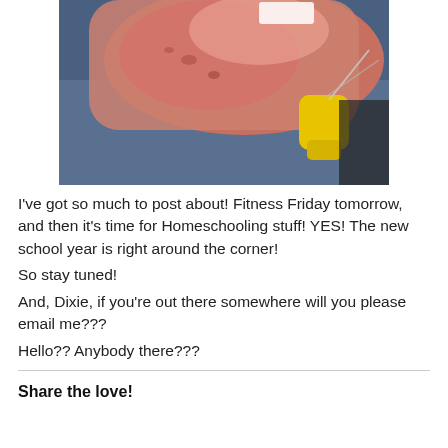[Figure (photo): Close-up photo of a person's reddened forearm/hand being treated with a yellow medical device, possibly a lancet or similar tool, on a blue surface background.]
I've got so much to post about! Fitness Friday tomorrow, and then it's time for Homeschooling stuff! YES! The new school year is right around the corner!
So stay tuned!
And, Dixie, if you’re out there somewhere will you please email me???
Hello?? Anybody there???
Share the love!